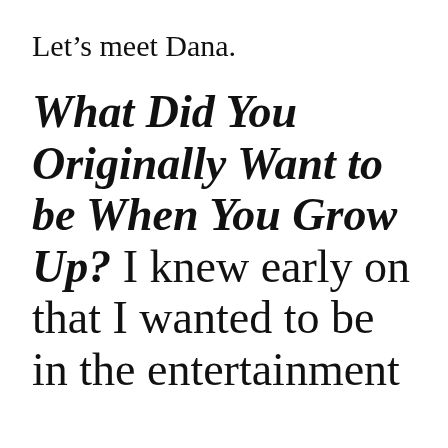Let’s meet Dana.
What Did You Originally Want to be When You Grow Up?
I knew early on that I wanted to be in the entertainment